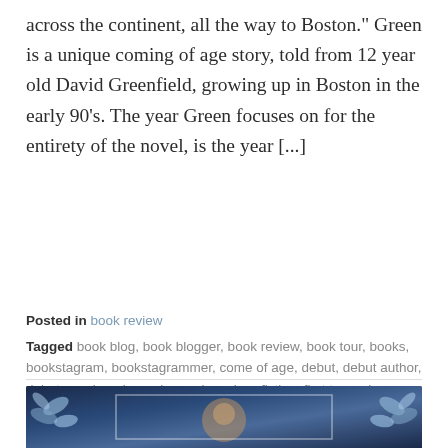across the continent, all the way to Boston." Green is a unique coming of age story, told from 12 year old David Greenfield, growing up in Boston in the early 90's. The year Green focuses on for the entirety of the novel, is the year [...]
Posted in book review
Tagged book blog, book blogger, book review, book tour, books, bookstagram, bookstagrammer, come of age, debut, debut author, debut novel, early reader, early review, fiction, first to read, green, mild spoilers, penguin random house, random house, review, sam graham-felsen, spoilers, YA, ya fiction
[Figure (photo): Partial view of a book cover or decorative image with blue floral/flower elements and a dark blue background, with a white rectangular border overlay in the center.]